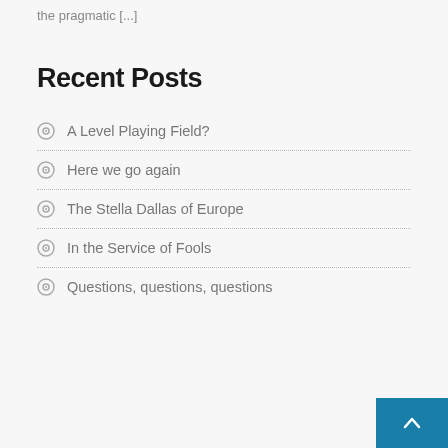the pragmatic [...]
Recent Posts
A Level Playing Field?
Here we go again
The Stella Dallas of Europe
In the Service of Fools
Questions, questions, questions